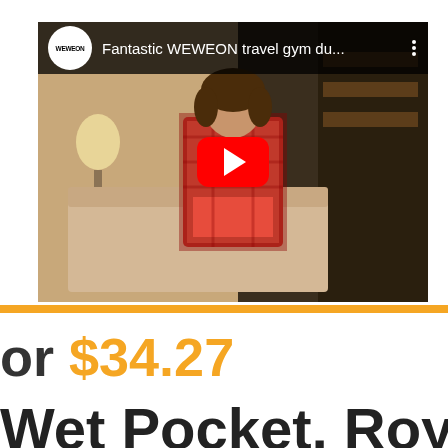[Figure (screenshot): YouTube video thumbnail showing a woman in a red plaid shirt sitting on a couch. Video title reads 'Fantastic WEWEON travel gym du...' with WEWEON logo circle on the left and a red play button in the center.]
or $34.27
Wet Pocket, Roy